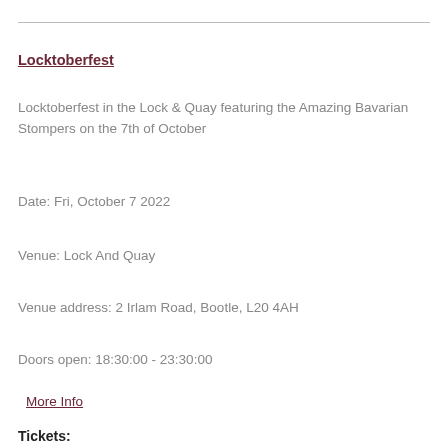Locktoberfest
Locktoberfest in the Lock & Quay featuring the Amazing Bavarian Stompers on the 7th of October
Date: Fri, October 7 2022
Venue: Lock And Quay
Venue address: 2 Irlam Road, Bootle, L20 4AH
Doors open: 18:30:00 - 23:30:00
More Info
Tickets: